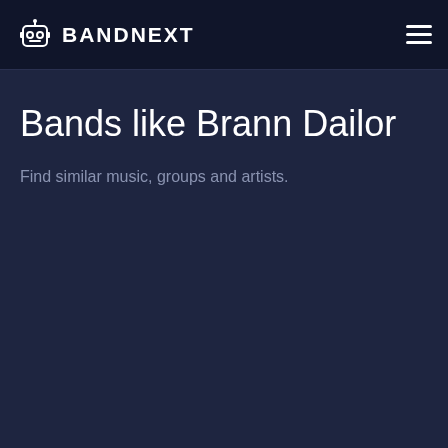BANDNEXT
Bands like Brann Dailor
Find similar music, groups and artists.